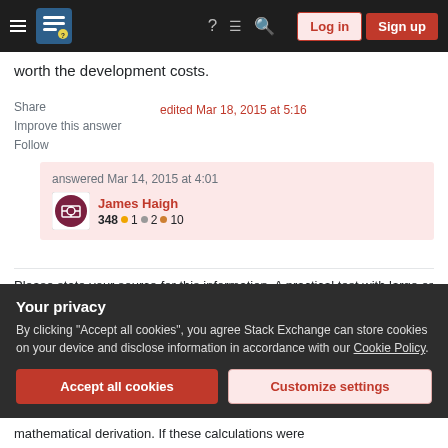Stack Exchange navigation bar with hamburger menu, logo, help, chat, search icons, Log in and Sign up buttons
worth the development costs.
Share
Improve this answer
Follow
edited Mar 18, 2015 at 5:16
answered Mar 14, 2015 at 4:01
James Haigh
348 ● 1 ● 2 ● 10
Please state your source for this information. A practical test with large or tiny writes does not concur
Your privacy
By clicking "Accept all cookies", you agree Stack Exchange can store cookies on your device and disclose information in accordance with our Cookie Policy.
Accept all cookies
Customize settings
mathematical derivation. If these calculations were